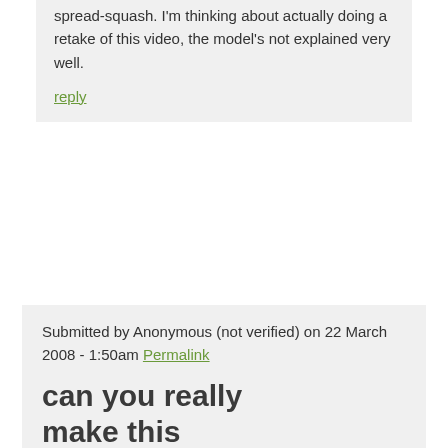spread-squash. I'm thinking about actually doing a retake of this video, the model's not explained very well.
reply
Submitted by Anonymous (not verified) on 22 March 2008 - 1:50am Permalink
can you really make this
can you really make this video over because well... I'm kind of a slow learner. Soo sorry T.T Thank You :D